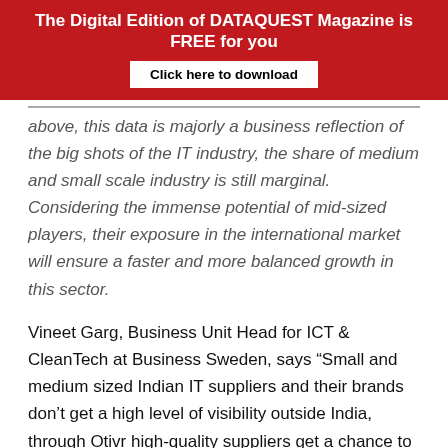The Digital Edition of DATAQUEST Magazine is FREE for you
above, this data is majorly a business reflection of the big shots of the IT industry, the share of medium and small scale industry is still marginal. Considering the immense potential of mid-sized players, their exposure in the international market will ensure a faster and more balanced growth in this sector.
Vineet Garg, Business Unit Head for ICT & CleanTech at Business Sweden, says “Small and medium sized Indian IT suppliers and their brands don’t get a high level of visibility outside India, through Otivr high-quality suppliers get a chance to white label their own services and broaden their customer base”.